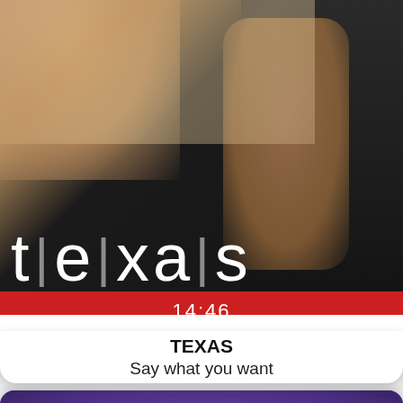[Figure (screenshot): Music player app screenshot showing two album cards. Top card: Texas band album art with person in black top, 'texas' logo in white with vertical bar separators, and a red bar showing 14:46. Below the card: artist name 'TEXAS' in bold and song 'Say what you want'. Bottom card: Toto 'Stop Loving You' single cover with purple background, gold ring/sword imagery.]
14:46
TEXAS
Say what you want
TOTO · STOP LOVING YOU